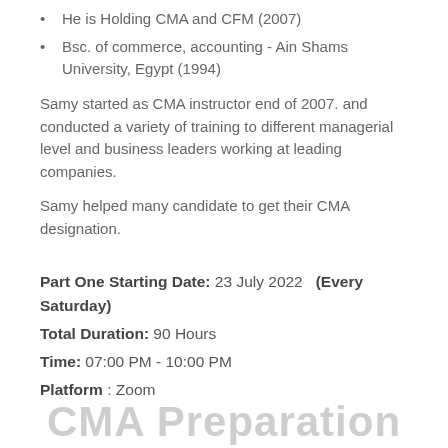He is Holding CMA and CFM (2007)
Bsc. of commerce, accounting - Ain Shams University, Egypt (1994)
Samy started as CMA instructor end of 2007. and conducted a variety of training to different managerial level and business leaders working at leading companies.
Samy helped many candidate to get their CMA designation.
Part One Starting Date: 23 July 2022  (Every Saturday)
Total Duration: 90 Hours
Time: 07:00 PM - 10:00 PM
Platform : Zoom
CMA Preparation